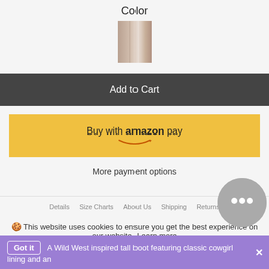Color
[Figure (photo): A small color swatch thumbnail showing a tan/beige boot material]
Add to Cart
Buy with amazon pay
More payment options
Details · Size Charts · About Us · Shipping · Returns
This website uses cookies to ensure you get the best experience on our website. Learn more
A Wild West inspired tall boot featuring classic cowgirl lining and an ... Got it ✕